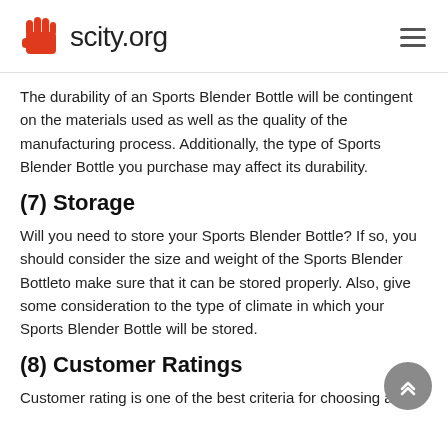scity.org
The durability of an Sports Blender Bottle will be contingent on the materials used as well as the quality of the manufacturing process. Additionally, the type of Sports Blender Bottle you purchase may affect its durability.
(7) Storage
Will you need to store your Sports Blender Bottle? If so, you should consider the size and weight of the Sports Blender Bottleto make sure that it can be stored properly. Also, give some consideration to the type of climate in which your Sports Blender Bottle will be stored.
(8) Customer Ratings
Customer rating is one of the best criteria for choosing an